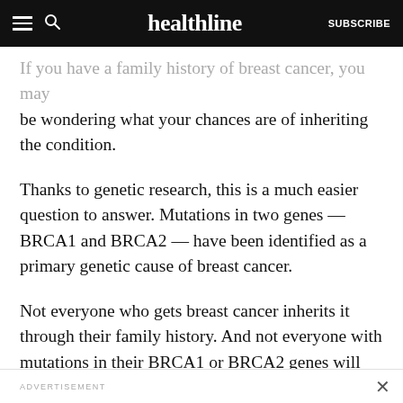healthline — SUBSCRIBE
If you have a family history of breast cancer, you may be wondering what your chances are of inheriting the condition.
Thanks to genetic research, this is a much easier question to answer. Mutations in two genes — BRCA1 and BRCA2 — have been identified as a primary genetic cause of breast cancer.
Not everyone who gets breast cancer inherits it through their family history. And not everyone with mutations in their BRCA1 or BRCA2 genes will develop breast cancer. But having these specific mutations does greatly increase your risk of developing breast
ADVERTISEMENT